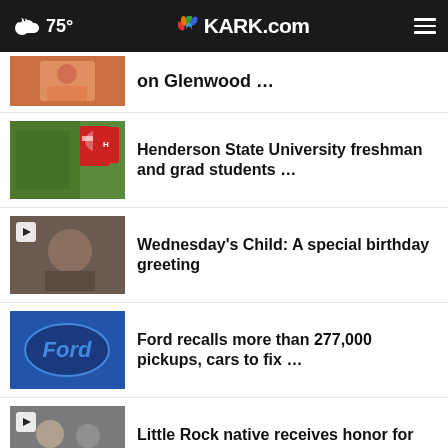75° KARK.com
on Glenwood …
Henderson State University freshman and grad students …
Wednesday's Child: A special birthday greeting
Ford recalls more than 277,000 pickups, cars to fix …
Little Rock native receives honor for work evacuating …
Bed Bath & Beyond to close 1…
CLICK HERE to hear Sharon's story & see all of the metal she had removed from her back! WATCH NOW